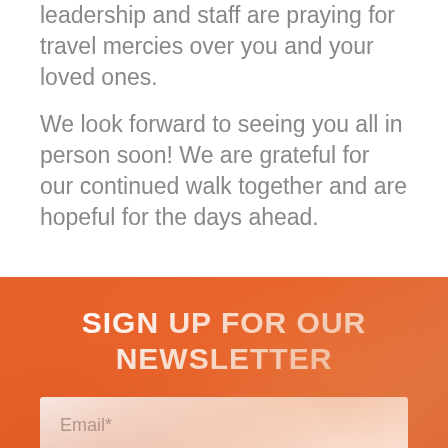leadership and staff are praying for travel mercies over you and your loved ones.
We look forward to seeing you all in person soon! We are grateful for our continued walk together and are hopeful for the days ahead.
SIGN UP FOR OUR NEWSLETTER
[Figure (other): Email newsletter signup form with email input field and reCAPTCHA widget]